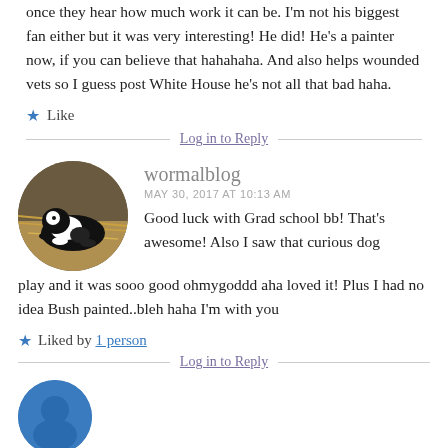once they hear how much work it can be. I'm not his biggest fan either but it was very interesting! He did! He's a painter now, if you can believe that hahahaha. And also helps wounded vets so I guess post White House he's not all that bad haha.
★ Like
Log in to Reply
wormalblog
MAY 30, 2017 AT 10:13 AM
[Figure (photo): Circular avatar photo of a black and white cat or dog lying on hay/straw]
Good luck with Grad school bb! That's awesome! Also I saw that curious dog play and it was sooo good ohmygoddd aha loved it! Plus I had no idea Bush painted..bleh haha I'm with you
★ Liked by 1 person
Log in to Reply
[Figure (photo): Partial circular avatar photo at bottom of page, blue/teal colored]